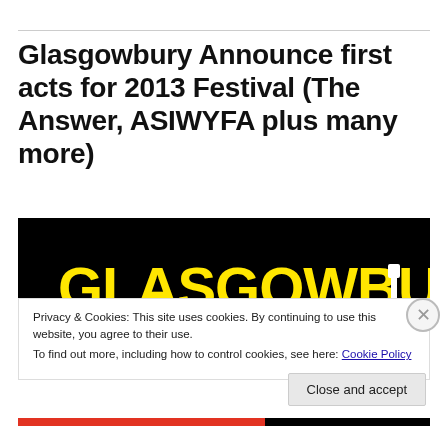Glasgowbury Announce first acts for 2013 Festival (The Answer, ASIWYFA plus many more)
[Figure (logo): Glasgowbury Music Festival 2013 logo — yellow text on black background with guitar graphic]
Privacy & Cookies: This site uses cookies. By continuing to use this website, you agree to their use.
To find out more, including how to control cookies, see here: Cookie Policy
Close and accept